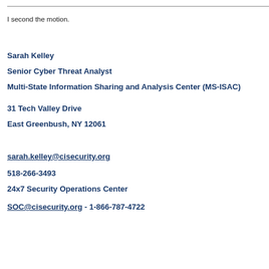I second the motion.
Sarah Kelley
Senior Cyber Threat Analyst
Multi-State Information Sharing and Analysis Center (MS-ISAC)
31 Tech Valley Drive
East Greenbush, NY 12061
sarah.kelley@cisecurity.org
518-266-3493
24x7 Security Operations Center
SOC@cisecurity.org - 1-866-787-4722